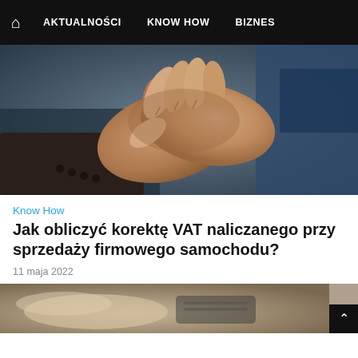🏠  AKTUALNOŚCI    KNOW HOW    BIZNES
[Figure (photo): A handshake between two people, one wearing a dark suit jacket, photographed close up against a dark background suggesting a car interior or dealership setting.]
Know How
Jak obliczyć korektę VAT naliczanego przy sprzedaży firmowego samochodu?
11 maja 2022
[Figure (photo): Partial view of a person's hands near what appears to be a card reader or payment terminal, blurred/bokeh background.]